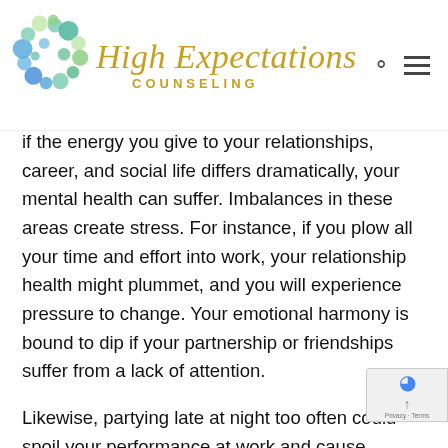[Figure (logo): High Expectations Counseling logo with colorful bubble circles and gold italic script text]
if the energy you give to your relationships, career, and social life differs dramatically, your mental health can suffer. Imbalances in these areas create stress. For instance, if you plow all your time and effort into work, your relationship health might plummet, and you will experience pressure to change. Your emotional harmony is bound to dip if your partnership or friendships suffer from a lack of attention.
Likewise, partying late at night too often could spoil your performance at work and cause energy, health, and mood disturbance because of the change. Sleep deprivation also affects how you make...